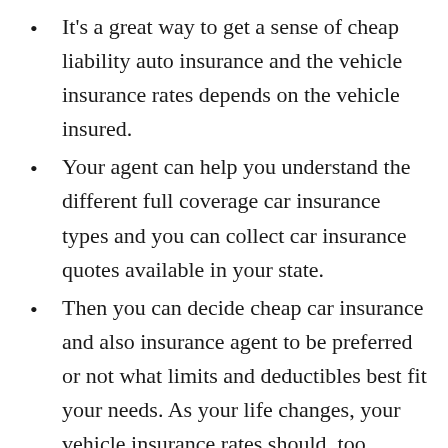It's a great way to get a sense of cheap liability auto insurance and the vehicle insurance rates depends on the vehicle insured.
Your agent can help you understand the different full coverage car insurance types and you can collect car insurance quotes available in your state.
Then you can decide cheap car insurance and also insurance agent to be preferred or not what limits and deductibles best fit your needs. As your life changes, your vehicle insurance rates should, too.
Your agent will be there to discuss your